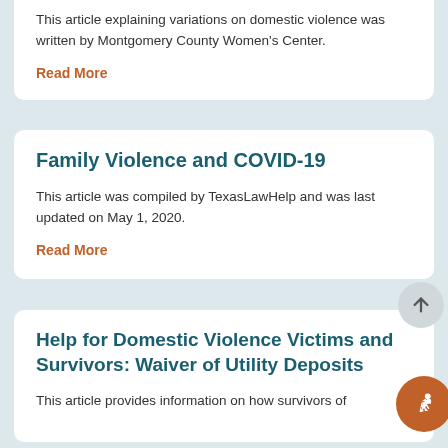This article explaining variations on domestic violence was written by Montgomery County Women's Center.
Read More
Family Violence and COVID-19
This article was compiled by TexasLawHelp and was last updated on May 1, 2020.
Read More
Help for Domestic Violence Victims and Survivors: Waiver of Utility Deposits
This article provides information on how survivors of